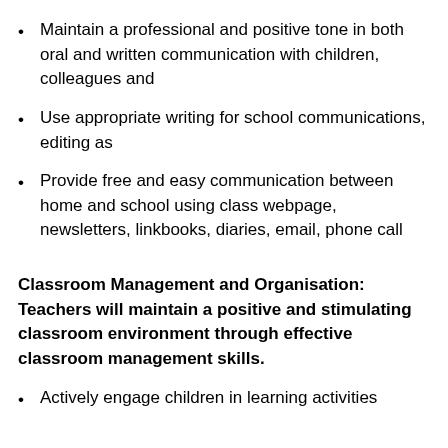Maintain a professional and positive tone in both oral and written communication with children, colleagues and
Use appropriate writing for school communications, editing as
Provide free and easy communication between home and school using class webpage, newsletters, linkbooks, diaries, email, phone call
Classroom Management and Organisation: Teachers will maintain a positive and stimulating classroom environment through effective classroom management skills.
Actively engage children in learning activities